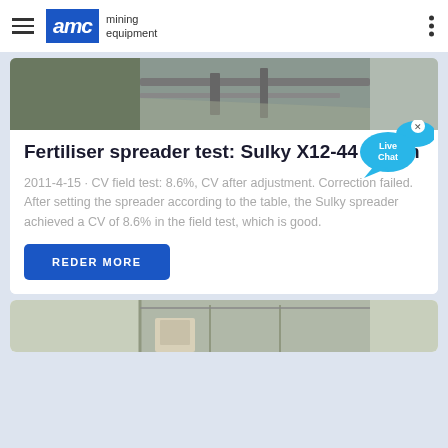AMC mining equipment
[Figure (photo): Partial view of mining/conveyor equipment outdoors]
Fertiliser spreader test: Sulky X12-44 Vision
2011-4-15 · CV field test: 8.6%, CV after adjustment. Correction failed. After setting the spreader according to the table, the Sulky spreader achieved a CV of 8.6% in the field test, which is good.
[Figure (illustration): Live Chat bubble graphic with X close button]
REDER MORE
[Figure (photo): Partial view of industrial equipment inside warehouse]